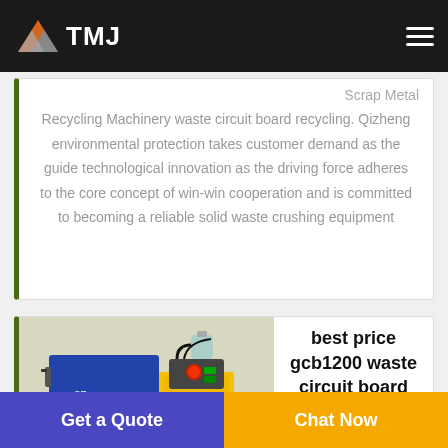TMJ
Scrap Metal Recycling Machinery waste circuit board recycling. Qizheng environmental protection takes customer demand as the guide technological innovation as the driving force adheres to the core concept of win-win cooperation and is committed to becoming a reliable solid waste crushing equipment
[Figure (photo): Industrial machine (gcb1200 waste circuit board recycler), blue and yellow colored machinery with control panel and red button]
best price gcb1200 waste circuit board from
Get a Quote
Chat Now